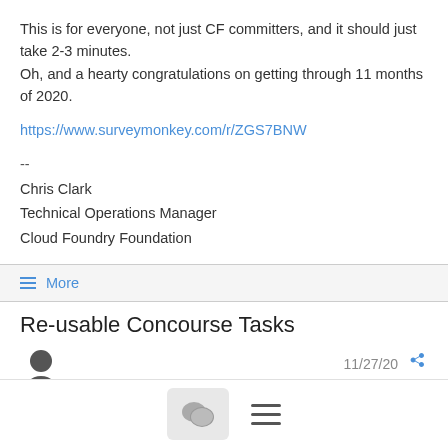This is for everyone, not just CF committers, and it should just take 2-3 minutes.
Oh, and a hearty congratulations on getting through 11 months of 2020.
https://www.surveymonkey.com/r/ZGS7BNW
--
Chris Clark
Technical Operations Manager
Cloud Foundry Foundation
≡ More
Re-usable Concourse Tasks
Daniel Jones   11/27/20